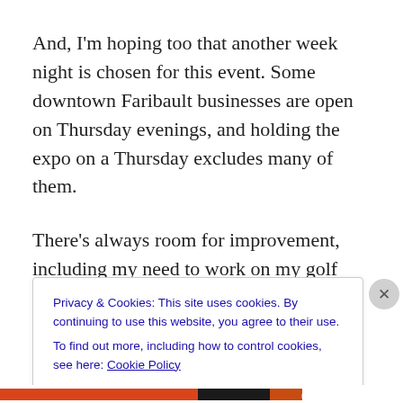And, I'm hoping too that another week night is chosen for this event. Some downtown Faribault businesses are open on Thursday evenings, and holding the expo on a Thursday excludes many of them.
There's always room for improvement, including my need to work on my golf swing and tossing bean bags.
Privacy & Cookies: This site uses cookies. By continuing to use this website, you agree to their use.
To find out more, including how to control cookies, see here: Cookie Policy